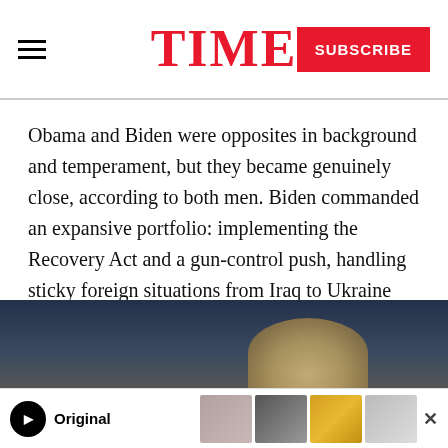TIME | SUBSCRIBE
Obama and Biden were opposites in background and temperament, but they became genuinely close, according to both men. Biden commanded an expansive portfolio: implementing the Recovery Act and a gun-control push, handling sticky foreign situations from Iraq to Ukraine and doing much of the Senate glad-handing that Obama loathed. Biden also argued for a restrained foreign policy, frequently clashing with the more hawkish Secretary of State Clinton and Defense Secretary Robert Gates. Biden advised against the raid that killed Osama bin Laden and against sending more troops to Afghanistan.
[Figure (photo): Dark background photo of a person, partially visible, taken at an event or press conference.]
[Figure (photo): Advertisement banner showing Paramount Originals with multiple thumbnail images of TV shows or movies.]